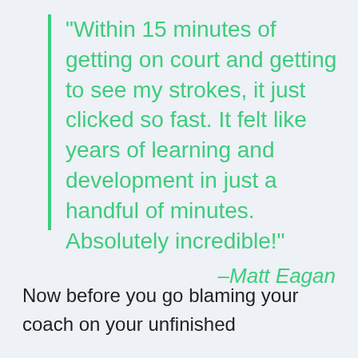“Within 15 minutes of getting on court and getting to see my strokes, it just clicked so fast. It felt like years of learning and development in just a handful of minutes. Absolutely incredible!” –Matt Eagan
Now before you go blaming your coach on your unfinished